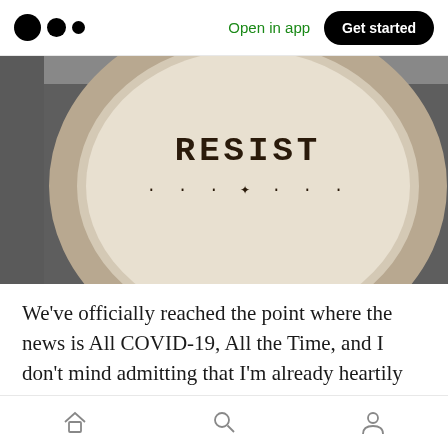Open in app | Get started
[Figure (photo): A circular embroidery hoop on a dark background with cross-stitch text reading 'RESIST' and decorative stitching below.]
We've officially reached the point where the news is All COVID-19, All the Time, and I don't mind admitting that I'm already heartily sick of it. That said, there's still a lot of news that definitely needs to be closely tracked, so here we are. I'll keep folks posted, and I hope everybody is staying
Home | Search | Profile